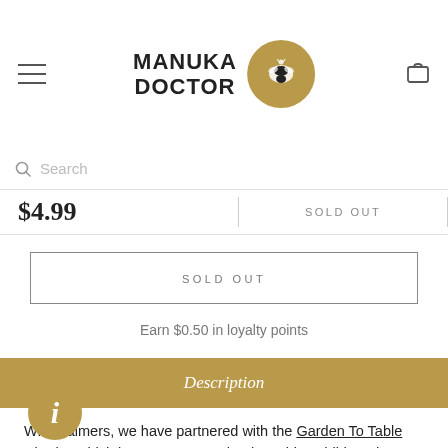MANUKA DOCTOR
$4.99 | SOLD OUT
SOLD OUT
Earn $0.50 in loyalty points
Description
With Palmers, we have partnered with the Garden To Table Charity, which is a programme that is teaching children the essential skills they need to be food-resilient. All around the country, we want to see children enthusiastically getting their hands dirty and learning how to grow, harvest, prepare